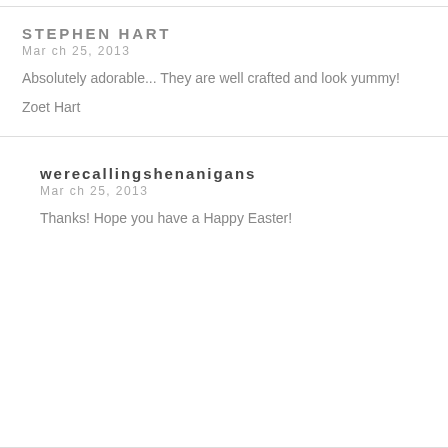STEPHEN HART
March 25, 2013
Absolutely adorable... They are well crafted and look yummy!
Zoet Hart
werecallingshenanigans
March 25, 2013
Thanks! Hope you have a Happy Easter!